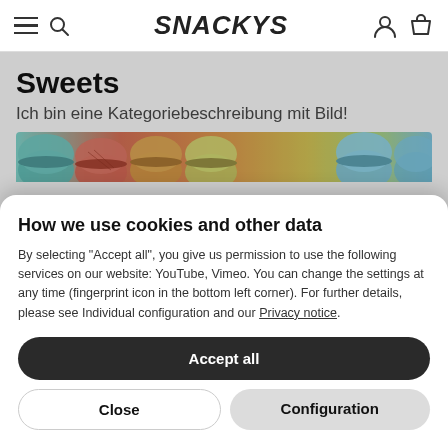SNACKYS
Sweets
Ich bin eine Kategoriebeschreibung mit Bild!
[Figure (photo): Colorful macarons in teal, orange, yellow, and green colors]
How we use cookies and other data
By selecting "Accept all", you give us permission to use the following services on our website: YouTube, Vimeo. You can change the settings at any time (fingerprint icon in the bottom left corner). For further details, please see Individual configuration and our Privacy notice.
Accept all
Close
Configuration